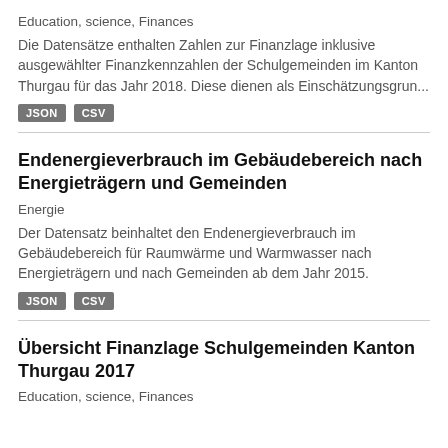Education, science, Finances
Die Datensätze enthalten Zahlen zur Finanzlage inklusive ausgewählter Finanzkennzahlen der Schulgemeinden im Kanton Thurgau für das Jahr 2018. Diese dienen als Einschätzungsgrun...
JSON  CSV
Endenergieverbrauch im Gebäudebereich nach Energieträgern und Gemeinden
Energie
Der Datensatz beinhaltet den Endenergieverbrauch im Gebäudebereich für Raumwärme und Warmwasser nach Energieträgern und nach Gemeinden ab dem Jahr 2015.
JSON  CSV
Übersicht Finanzlage Schulgemeinden Kanton Thurgau 2017
Education, science, Finances